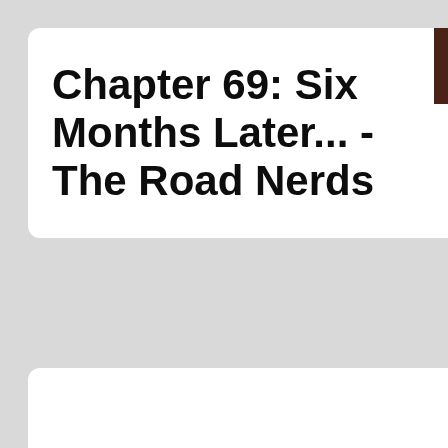Chapter 69: Six Months Later... - The Road Nerds